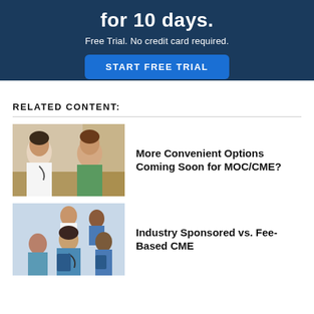for 10 days.
Free Trial. No credit card required.
START FREE TRIAL
RELATED CONTENT:
[Figure (photo): A female doctor speaking with a seated female patient in a clinical consultation setting.]
More Convenient Options Coming Soon for MOC/CME?
[Figure (photo): A group of medical professionals in scrubs and white coats seated in a lecture or conference setting.]
Industry Sponsored vs. Fee-Based CME